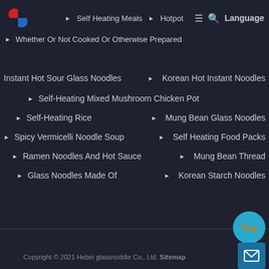[Figure (logo): Red and blue circular logo icon]
Self Heating Meals ▶ Hotpot
≡ 🔍 Language
▶ Whether Or Not Cooked Or Otherwise Prepared
Instant Hot Sour Glass Noodles
▶ Korean Hot Instant Noodles
▶ Self-Heating Mixed Mushroom Chicken Pot
▶ Self-Heating Rice
▶ Mung Bean Glass Noodles
▶ Spicy Vermicelli Noodle Soup
▶ Self Heating Food Packs
▶ Ramen Noodles And Hot Sauce
▶ Mung Bean Thread
▶ Glass Noodles Made Of
▶ Korean Starch Noodles
Copyright © 2021 Hebei glassnoddle Co., Ltd. Sitemap